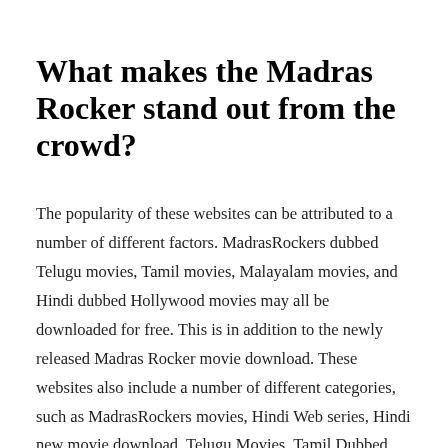What makes the Madras Rocker stand out from the crowd?
The popularity of these websites can be attributed to a number of different factors. MadrasRockers dubbed Telugu movies, Tamil movies, Malayalam movies, and Hindi dubbed Hollywood movies may all be downloaded for free. This is in addition to the newly released Madras Rocker movie download. These websites also include a number of different categories, such as MadrasRockers movies, Hindi Web series, Hindi new movie download, Telugu Movies, Tamil Dubbed Movies, and so on. This indicates that new content from Bollywood may be located with relative ease on the same platform. MadrasRockers 2021 Telugu movies download Madras Rockers 2022 Bollywood movie in...